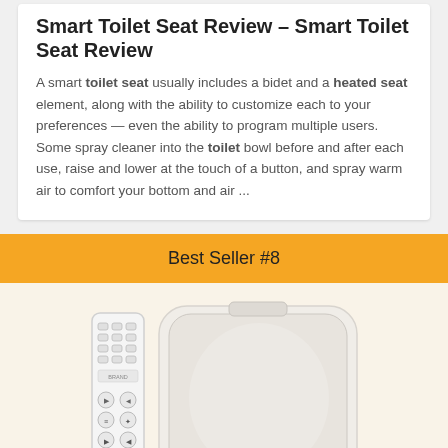Smart Toilet Seat Review – Smart Toilet Seat Review
A smart toilet seat usually includes a bidet and a heated seat element, along with the ability to customize each to your preferences — even the ability to program multiple users. Some spray cleaner into the toilet bowl before and after each use, raise and lower at the touch of a button, and spray warm air to comfort your bottom and air ...
Best Seller #8
[Figure (photo): A white smart toilet seat with a remote control beside it, shown against a light background. The remote control has multiple buttons including navigation and function buttons.]